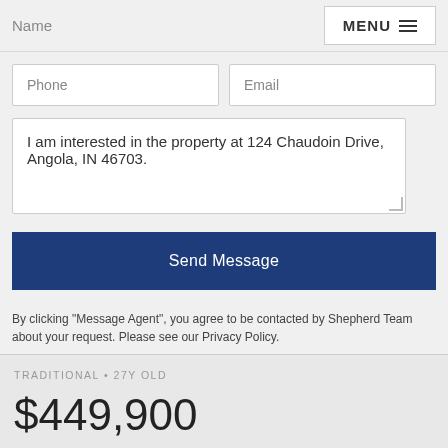Name
MENU
Phone
Email
I am interested in the property at 124 Chaudoin Drive, Angola, IN 46703.
Send Message
By clicking "Message Agent", you agree to be contacted by Shepherd Team about your request. Please see our Privacy Policy.
TRADITIONAL • 27Y OLD
$449,900